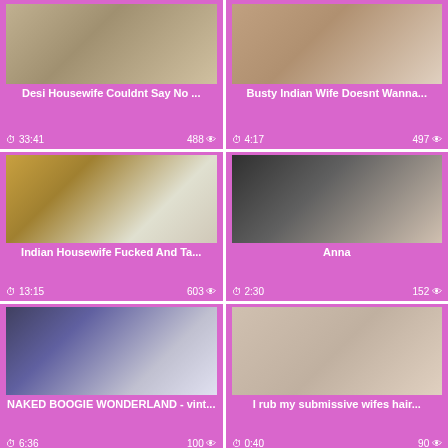[Figure (photo): Video thumbnail top-left: Desi Housewife]
Desi Housewife Couldnt Say No ...
33:41  488
[Figure (photo): Video thumbnail top-right: Busty Indian Wife]
Busty Indian Wife Doesnt Wanna...
4:17  497
[Figure (photo): Video thumbnail middle-left: Indian Housewife]
Indian Housewife Fucked And Ta...
13:15  603
[Figure (photo): Video thumbnail middle-right: Anna]
Anna
2:30  152
[Figure (photo): Video thumbnail bottom-left: Naked Boogie Wonderland]
NAKED BOOGIE WONDERLAND - vint...
6:36  100
[Figure (photo): Video thumbnail bottom-right: I rub my submissive wifes hair]
I rub my submissive wifes hair...
0:40  90